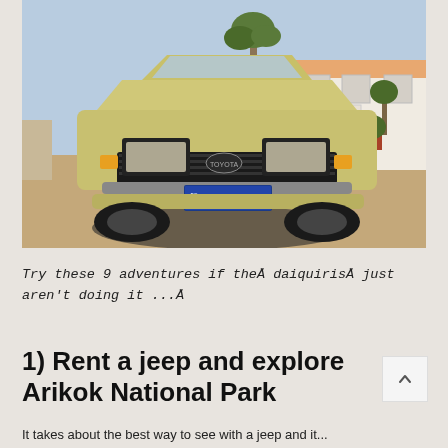[Figure (photo): Front view of a beige/gold Toyota sedan with license plate 49356, parked on sandy ground in front of a white building with palm trees in background]
Try these 9 adventures if the  daiquiris  just aren't doing it ...
1) Rent a jeep and explore Arikok National Park
It takes about the best way to see with a jeep and it...